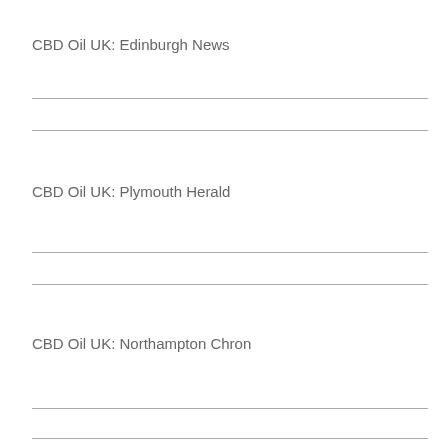CBD Oil UK: Edinburgh News
CBD Oil UK: Plymouth Herald
CBD Oil UK: Northampton Chron